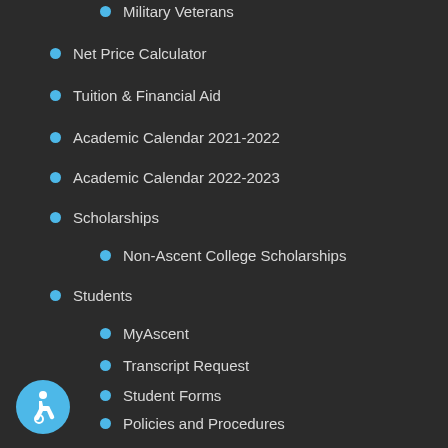Military Veterans
Net Price Calculator
Tuition & Financial Aid
Academic Calendar 2021-2022
Academic Calendar 2022-2023
Scholarships
Non-Ascent College Scholarships
Students
MyAscent
Transcript Request
Student Forms
Policies and Procedures
International Student Handbook
2021-2022 Academic Catalog
2022-2023 Academic Catalog